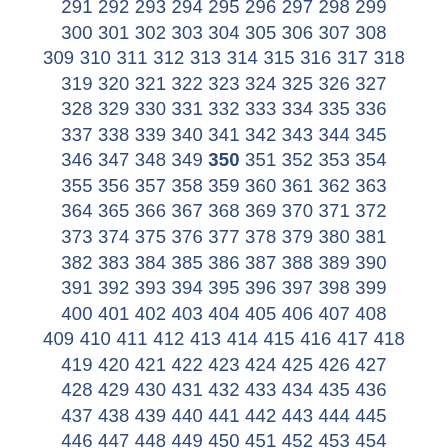273 274 275 276 277 278 279 280 281 282 283 284 285 286 287 288 289 290 291 292 293 294 295 296 297 298 299 300 301 302 303 304 305 306 307 308 309 310 311 312 313 314 315 316 317 318 319 320 321 322 323 324 325 326 327 328 329 330 331 332 333 334 335 336 337 338 339 340 341 342 343 344 345 346 347 348 349 350 351 352 353 354 355 356 357 358 359 360 361 362 363 364 365 366 367 368 369 370 371 372 373 374 375 376 377 378 379 380 381 382 383 384 385 386 387 388 389 390 391 392 393 394 395 396 397 398 399 400 401 402 403 404 405 406 407 408 409 410 411 412 413 414 415 416 417 418 419 420 421 422 423 424 425 426 427 428 429 430 431 432 433 434 435 436 437 438 439 440 441 442 443 444 445 446 447 448 449 450 451 452 453 454 455 456 457 458 459 460 461 462 463 464 465 466 467 468 469 470 471 472